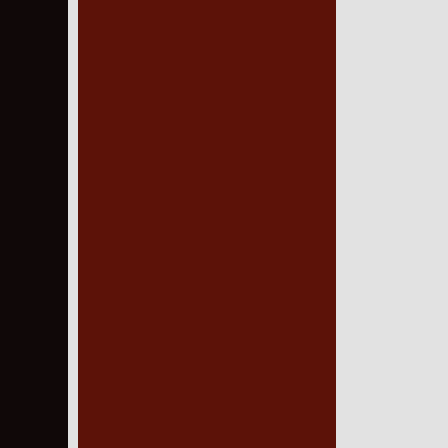[Figure (other): Dark red vertical panel / book spine or cover element against a light gray background, with a near-black strip on the far left edge]
Continue reading "N